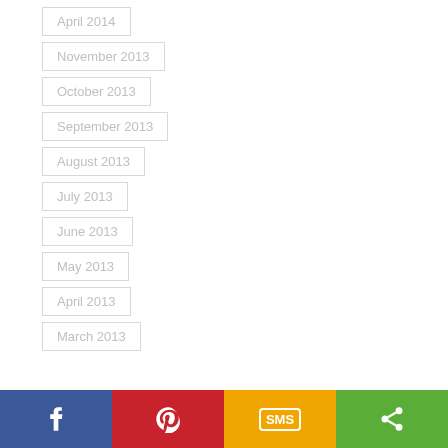April 2014
November 2013
October 2013
September 2013
August 2013
July 2013
June 2013
May 2013
April 2013
March 2013
[Figure (infographic): Social sharing bar with four buttons: Facebook (blue), Pinterest (red), SMS (gold/yellow), Share (green)]